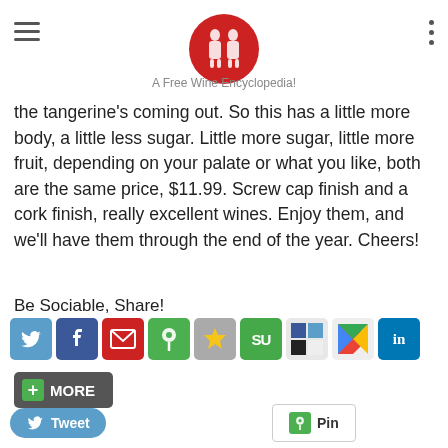A Free Wine Encyclopedia!
the tangerine’s coming out. So this has a little more body, a little less sugar. Little more sugar, little more fruit, depending on your palate or what you like, both are the same price, $11.99. Screw cap finish and a cork finish, really excellent wines. Enjoy them, and we’ll have them through the end of the year. Cheers!
Be Sociable, Share!
[Figure (screenshot): Social sharing buttons: Twitter, Facebook, Email, Pin, Star, StumbleUpon, Delicious, Google, LinkedIn]
[Figure (screenshot): + MORE button (dark gray with green plus)]
[Figure (screenshot): Tweet button (blue) and Pin button (green icon, white bg)]
Author: admin on August 11, 2015
Categories: Trivia, Wine Education, Wine Videos